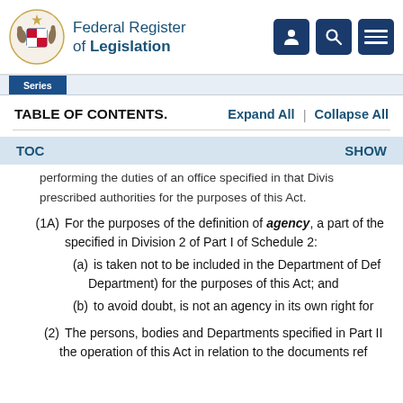Federal Register of Legislation
TABLE OF CONTENTS.   Expand All  |  Collapse All
TOC   SHOW
performing the duties of an office specified in that Divis prescribed authorities for the purposes of this Act.
(1A)  For the purposes of the definition of agency, a part of the specified in Division 2 of Part I of Schedule 2:
(a)  is taken not to be included in the Department of Def Department) for the purposes of this Act; and
(b)  to avoid doubt, is not an agency in its own right for
(2)  The persons, bodies and Departments specified in Part II the operation of this Act in relation to the documents ref